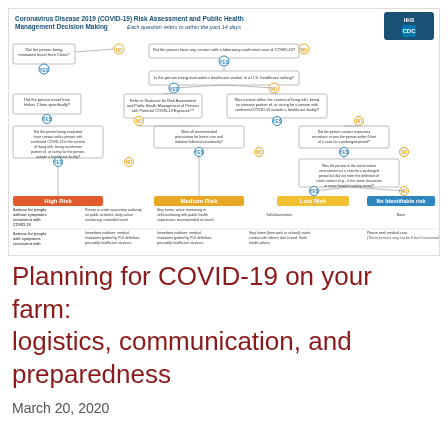[Figure (flowchart): CDC COVID-19 Risk Assessment and Public Health Management Decision Making flowchart. Shows decision tree with YES/NO branches leading to four risk categories: High Risk, Medium Risk, Low Risk, No Identifiable Risk. Each risk category has Actions for people without symptoms and Actions for people with symptoms consistent with COVID-19.]
Planning for COVID-19 on your farm: logistics, communication, and preparedness
March 20, 2020